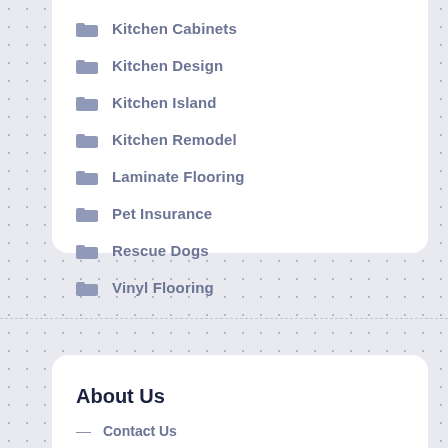Kitchen Cabinets
Kitchen Design
Kitchen Island
Kitchen Remodel
Laminate Flooring
Pet Insurance
Rescue Dogs
Vinyl Flooring
About Us
Contact Us